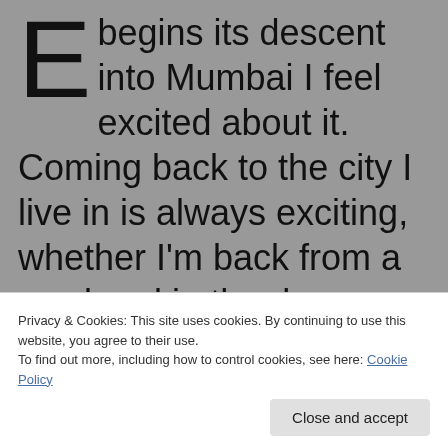Every time the plane begins its descent into Mumbai I feel excited about it. Coming back to the city I live in is always exciting, whether I'm back from a weekend in the deep jungles of Central India, a holiday in a big city in some other part of the world, a relaxing time in the middle heights of the Himalayas watching the sun rise over the world's highest peaks, or the fussiest week of work...even that work seems exciting.
Privacy & Cookies: This site uses cookies. By continuing to use this website, you agree to their use. To find out more, including how to control cookies, see here: Cookie Policy